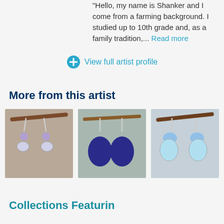"Hello, my name is Shanker and I come from a farming background. I studied up to 10th grade and, as a family tradition,... Read more
+ View full artist profile
More from this artist
[Figure (photo): Three photos of silver dangle earrings: left pair with amethyst and moonstone, center pair with lapis lazuli ovals, right pair with blue topaz and larimar teardrops]
Collections Featuring Shanker